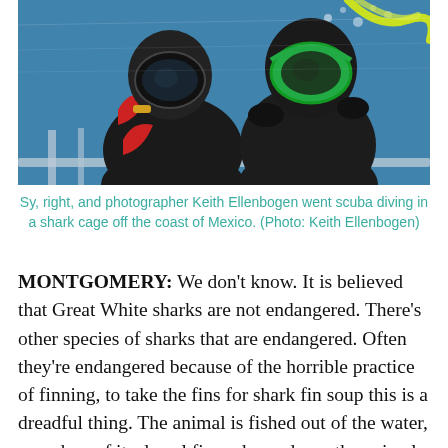[Figure (photo): Two scuba divers in wetsuits and masks underwater in a shark cage, with blue water and bubbles visible. One diver on the left wears dark gear and a black mask; the other on the right wears a bright green mask and yellow-green hose.]
Sy, right, and photographer Keith Ellenbogen went scuba diving in a shark cage off the coast of Mexico. (Photo: Keith Ellenbogen)
MONTGOMERY: We don't know. It is believed that Great White sharks are not endangered. There's other species of sharks that are endangered. Often they're endangered because of the horrible practice of finning, to take the fins for shark fin soup this is a dreadful thing. The animal is fished out of the water, you chop of its dorsal fin and you dump the animal bleeding to die back in the ocean. Other